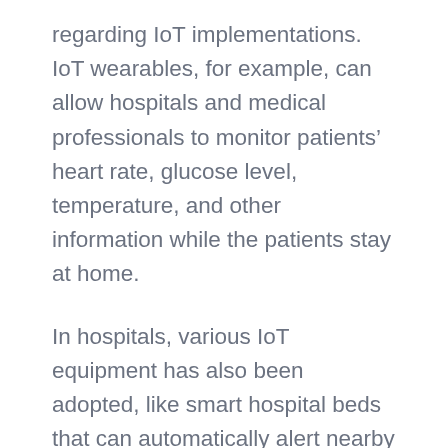regarding IoT implementations. IoT wearables, for example, can allow hospitals and medical professionals to monitor patients' heart rate, glucose level, temperature, and other information while the patients stay at home.
In hospitals, various IoT equipment has also been adopted, like smart hospital beds that can automatically alert nearby nurses/doctors when the patient wanted to get up from the bed.